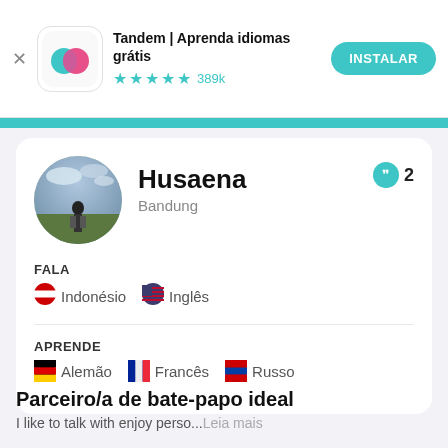[Figure (screenshot): Tandem app install banner with logo, star rating 4.5 stars, 389k reviews, and INSTALAR button]
Tandem | Aprenda idiomas grátis
★★★★½ 389k
INSTALAR
[Figure (photo): Circular profile photo of Husaena standing in a field with dramatic sky]
Husaena
Bandung
2
FALA
🇮🇩 Indonésio   🇺🇸 Inglês
APRENDE
🇩🇪 Alemão   🇫🇷 Francês   🇷🇺 Russo
Parceiro/a de bate-papo ideal
I like to talk with enjoy perso...Leia mais